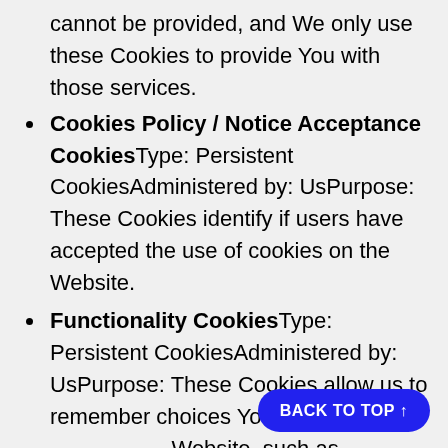cannot be provided, and We only use these Cookies to provide You with those services.
Cookies Policy / Notice Acceptance Cookies Type: Persistent CookiesAdministered by: UsPurpose: These Cookies identify if users have accepted the use of cookies on the Website.
Functionality Cookies Type: Persistent CookiesAdministered by: UsPurpose: These Cookies allow us to remember choices You make when You use the Website, such as remembering your